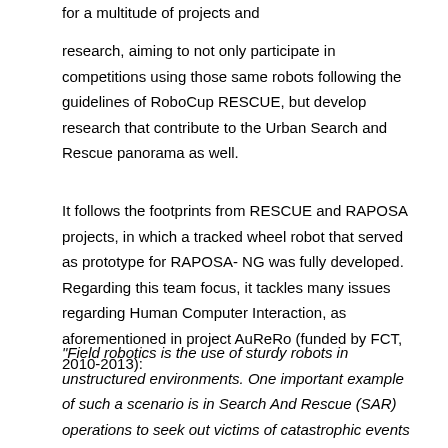for a multitude of projects and
research, aiming to not only participate in competitions using those same robots following the guidelines of RoboCup RESCUE, but develop research that contribute to the Urban Search and Rescue panorama as well.
It follows the footprints from RESCUE and RAPOSA projects, in which a tracked wheel robot that served as prototype for RAPOSA-NG was fully developed. Regarding this team focus, it tackles many issues regarding Human Computer Interaction, as aforementioned in project AuReRo (funded by FCT, 2010-2013):
"Field robotics is the use of sturdy robots in unstructured environments. One important example of such a scenario is in Search And Rescue (SAR) operations to seek out victims of catastrophic events in urban environments. While advances in this domain have the potential to save human lives, many challenging problems still hinder the deployment of SAR robots in real situations. This project tackles one such crucial issue: effective real-time